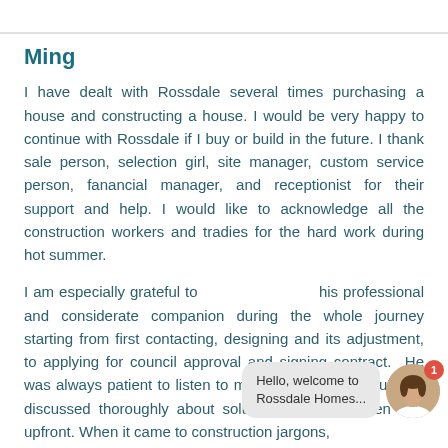Ming
I have dealt with Rossdale several times purchasing a house and constructing a house. I would be very happy to continue with Rossdale if I buy or build in the future. I thank sale person, selection girl, site manager, custom service person, fanancial manager, and receptionist for their support and help. I would like to acknowledge all the construction workers and tradies for the hard work during hot summer.
I am especially grateful to [name obscured by chat overlay] his professional and considerate companion during the whole journey starting from first contacting, designing and its adjustment, to applying for council approval and signing contract.  He was always patient to listen to my requirements or queries, discussed thoroughly about solutions and was open and upfront. When it came to construction jargons,
[Figure (screenshot): Chat widget overlay showing a female avatar with a red badge showing '1' and a speech bubble saying 'Hello, welcome to Rossdale Homes...']